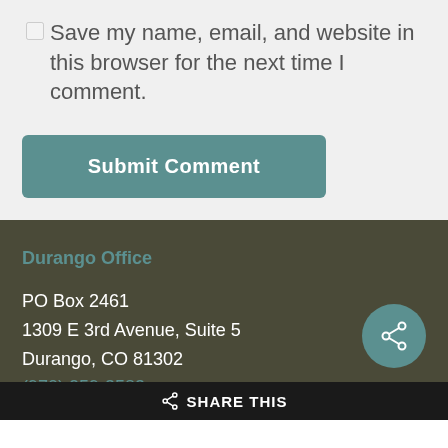Save my name, email, and website in this browser for the next time I comment.
Submit Comment
Durango Office
PO Box 2461
1309 E 3rd Avenue, Suite 5
Durango, CO 81302
(970) 259-3583
SHARE THIS